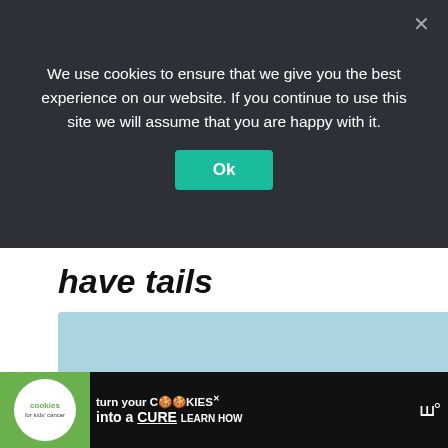We use cookies to ensure that we give you the best experience on our website. If you continue to use this site we will assume that you are happy with it.
Ok
have tails
[Figure (photo): A tabby cat with no tail posed against a light blue background, looking toward the camera with green eyes.]
WHAT'S NEXT → Meet the Siberian: Ca...
[Figure (infographic): Advertisement banner: 'cookies for kids cancer — turn your COOKIES into a CURE LEARN HOW']